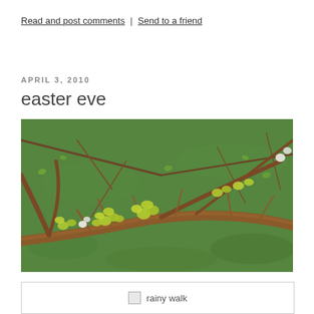Read and post comments | Send to a friend
APRIL 3, 2010
easter eve
[Figure (photo): Close-up photograph of tree branches with bright yellow-green spring buds and leaves, set against a green grassy background. A main thick branch runs diagonally across the center with smaller branches radiating outward.]
[Figure (photo): Broken image placeholder labeled 'rainy walk']